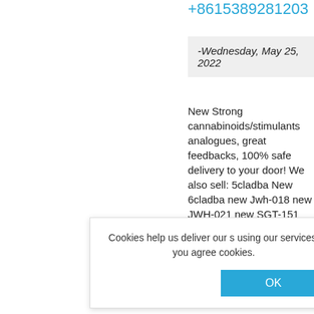+8615389281203
-Wednesday, May 25, 2022
New Strong cannabinoids/stimulants analogues, great feedbacks, 100% safe delivery to your door! We also sell: 5cladba New 6cladba new Jwh-018 new JWH-021 new SGT-151 new 5fadb/4fadb new adbb New Eutylone New 2fdck New Etizolam New alprazolam Deschloroetizolam
Cookies help us deliver our s using our services, you agree cookies.